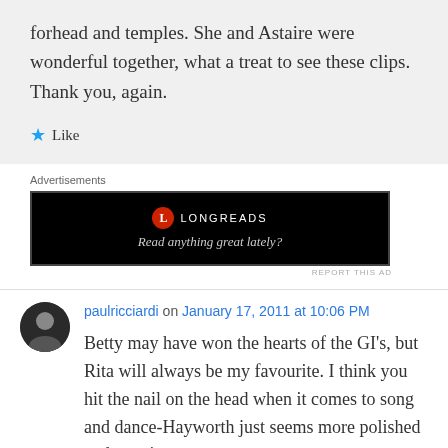forhead and temples. She and Astaire were wonderful together, what a treat to see these clips. Thank you, again.
★ Like
Advertisements
[Figure (other): Longreads advertisement banner with black background, Longreads logo and text 'Read anything great lately?']
paulricciardi on January 17, 2011 at 10:06 PM
Betty may have won the hearts of the GI's, but Rita will always be my favourite. I think you hit the nail on the head when it comes to song and dance-Hayworth just seems more polished and genuine.